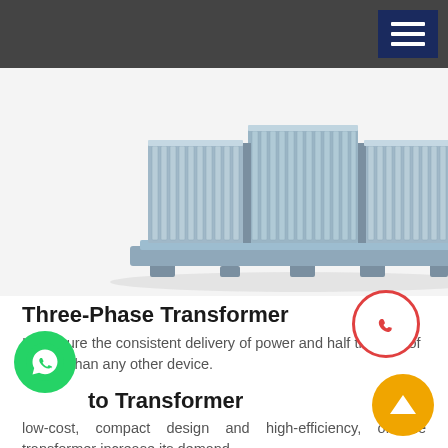[Figure (photo): Three-phase oil-cooled transformer with corrugated metal cooling fins, shown from a low angle against a white background. The transformer appears metallic blue-grey with multiple vertical cooling panels.]
Three-Phase Transformer
It'll ensure the consistent delivery of power and half the loss of energy than any other device.
to Transformer
low-cost, compact design and high-efficiency, of the transformer increase its demand.